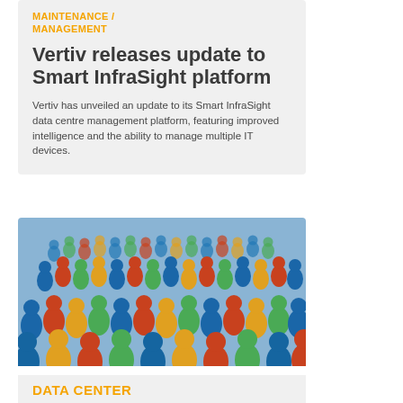MAINTENANCE / MANAGEMENT
Vertiv releases update to Smart InfraSight platform
Vertiv has unveiled an update to its Smart InfraSight data centre management platform, featuring improved intelligence and the ability to manage multiple IT devices.
[Figure (photo): A 3D illustration of a crowd of colorful human figurines in blue, red, green, and gold/yellow colors viewed from above at an angle]
DATA CENTER